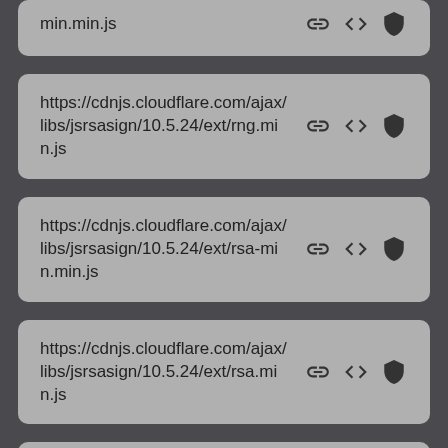min.min.js
https://cdnjs.cloudflare.com/ajax/libs/jsrsasign/10.5.24/ext/rng.min.js
https://cdnjs.cloudflare.com/ajax/libs/jsrsasign/10.5.24/ext/rsa-min.min.js
https://cdnjs.cloudflare.com/ajax/libs/jsrsasign/10.5.24/ext/rsa.min.js
https://cdnjs.cloudflare.com/ajax/libs/jsrsasign/10.5.24/ext/rsa2-